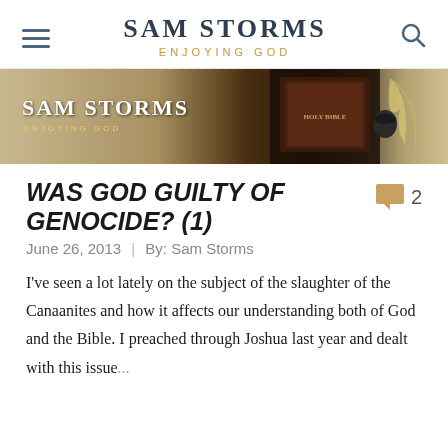SAM STORMS — ENJOYING GOD
[Figure (illustration): Sam Storms Enjoying God website banner with Bible, quill pen, and parchment background]
WAS GOD GUILTY OF GENOCIDE? (1)
2 comments
June 26, 2013  |  By: Sam Storms
I've seen a lot lately on the subject of the slaughter of the Canaanites and how it affects our understanding both of God and the Bible. I preached through Joshua last year and dealt with this issue...